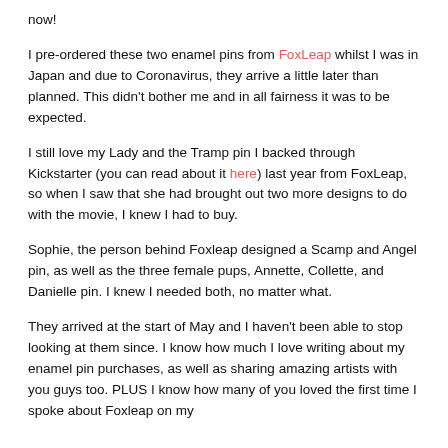now!
I pre-ordered these two enamel pins from FoxLeap whilst I was in Japan and due to Coronavirus, they arrive a little later than planned. This didn't bother me and in all fairness it was to be expected.
I still love my Lady and the Tramp pin I backed through Kickstarter (you can read about it here) last year from FoxLeap, so when I saw that she had brought out two more designs to do with the movie, I knew I had to buy.
Sophie, the person behind Foxleap designed a Scamp and Angel pin, as well as the three female pups, Annette, Collette, and Danielle pin. I knew I needed both, no matter what.
They arrived at the start of May and I haven't been able to stop looking at them since. I know how much I love writing about my enamel pin purchases, as well as sharing amazing artists with you guys too. PLUS I know how many of you loved the first time I spoke about Foxleap on my